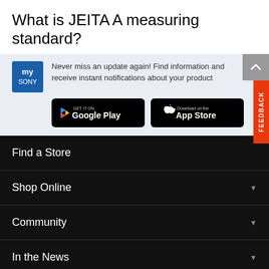What is JEITA A measuring standard?
[Figure (screenshot): Sony app promotion banner with Sony logo, text 'Never miss an update again! Find information and receive instant notifications about your product', Google Play and App Store download buttons, scroll-up button, and orange FEEDBACK tab]
Find a Store
Shop Online
Community
In the News